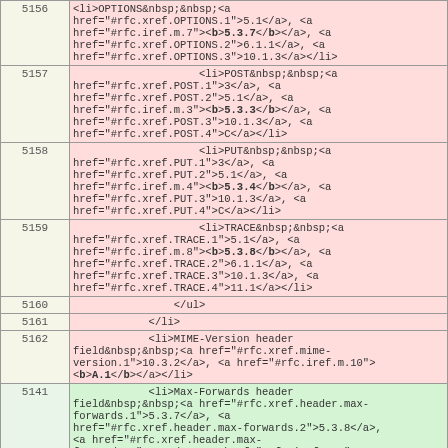| line | code |
| --- | --- |
| 5156 | <li>OPTIONS&nbsp;&nbsp;<a href="#rfc.xref.OPTIONS.1">5.1</a>, <a href="#rfc.iref.m.7"><b>5.3.7</b></a>, <a href="#rfc.xref.OPTIONS.2">6.1.1</a>, <a href="#rfc.xref.OPTIONS.3">10.1.3</a></li> |
| 5157 | <li>POST&nbsp;&nbsp;<a href="#rfc.xref.POST.1">3</a>, <a href="#rfc.xref.POST.2">5.1</a>, <a href="#rfc.iref.m.3"><b>5.3.3</b></a>, <a href="#rfc.xref.POST.3">10.1.3</a>, <a href="#rfc.xref.POST.4">C</a></li> |
| 5158 | <li>PUT&nbsp;&nbsp;<a href="#rfc.xref.PUT.1">3</a>, <a href="#rfc.xref.PUT.2">5.1</a>, <a href="#rfc.iref.m.4"><b>5.3.4</b></a>, <a href="#rfc.xref.PUT.3">10.1.3</a>, <a href="#rfc.xref.PUT.4">C</a></li> |
| 5159 | <li>TRACE&nbsp;&nbsp;<a href="#rfc.xref.TRACE.1">5.1</a>, <a href="#rfc.iref.m.8"><b>5.3.8</b></a>, <a href="#rfc.xref.TRACE.2">6.1.1</a>, <a href="#rfc.xref.TRACE.3">10.1.3</a>, <a href="#rfc.xref.TRACE.4">11.1</a></li> |
| 5160 | </ul> |
| 5161 | </li> |
| 5162 | <li>MIME-Version header field&nbsp;&nbsp;<a href="#rfc.xref.mime-version.1">10.3.2</a>, <a href="#rfc.iref.m.10"><b>A.1</b></a></li> |
| 5141 | <li>Max-Forwards header field&nbsp;&nbsp;<a href="#rfc.xref.header.max-forwards.1">5.3.7</a>, <a href="#rfc.xref.header.max-forwards.2">5.3.8</a>, <a href="#rfc.xref.header.max-forwards.3">6.1</a>, <a href="#rfc.iref.m.1"><b>6.1.1</b></a>, <a href="#rfc.xref.header.max-forwards.4">... |